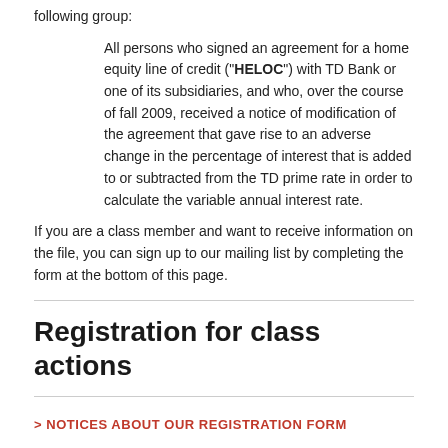following group:
All persons who signed an agreement for a home equity line of credit (“HELOC”) with TD Bank or one of its subsidiaries, and who, over the course of fall 2009, received a notice of modification of the agreement that gave rise to an adverse change in the percentage of interest that is added to or subtracted from the TD prime rate in order to calculate the variable annual interest rate.
If you are a class member and want to receive information on the file, you can sign up to our mailing list by completing the form at the bottom of this page.
Registration for class actions
> NOTICES ABOUT OUR REGISTRATION FORM
Procedures and judgments